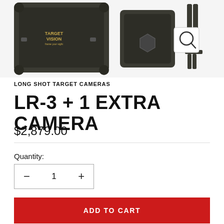[Figure (photo): Product photos of Target Vision long shot target camera system including hard case, camera unit, and tripod mount accessories on white background]
LONG SHOT TARGET CAMERAS
LR-3 + 1 EXTRA CAMERA
$2,879.00
Quantity:
ADD TO CART